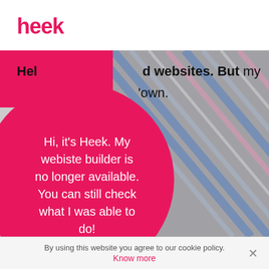[Figure (logo): heek logo in pink/magenta color]
[Figure (photo): Screenshot of heek website showing a pink banner with partial text 'Hel...' and '...d websites. But my' and 'own.' A large pink circle overlay contains the message: Hi, it's Heek. My webiste builder is no longer available. You can still check what I was able to do! Background shows a striped bag image.]
Home / SMBs / SMB Online Tips / How to manage
By using this website you agree to our cookie policy.
Know more